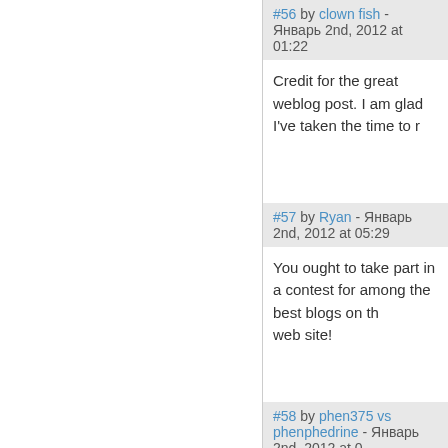#56 by clown fish - Январь 2nd, 2012 at 01:22
Credit for the great weblog post. I am glad I've taken the time to r
#57 by Ryan - Январь 2nd, 2012 at 05:29
You ought to take part in a contest for among the best blogs on th web site!
#58 by phen375 vs phenphedrine - Январь 2nd, 2012 at 0
I appreciate, cause I found just what I was looking for. You have e Bless you man. Have a nice day. Bye
#59 by percula clownfish - Январь 3rd, 2012 at 08:46
I got what you mean , saved to bookmarks , extremely decent we